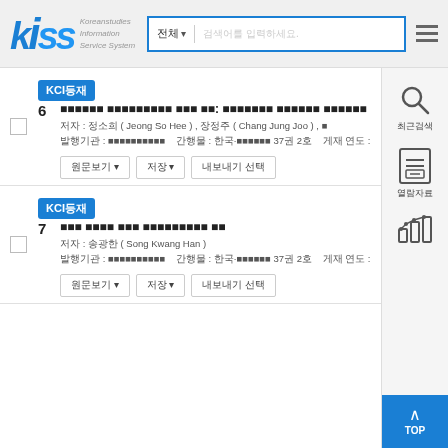[Figure (logo): KISS - Koreanstudies Information Service System logo with blue stylized text]
KCI등재 6 [Korean title about educational research]: [Korean subtitle] 저자: 정소희 (Jeong So Hee), 장정주 (Chang Jung Joo), 발행기관: [Korean institution] 간행물: 한국·교육학연구 37권 2호 게재 연도: 2022
KCI등재 7 [Korean title about learning/educational topic] 저자: 송광한 (Song Kwang Han) 발행기관: [Korean institution] 간행물: 한국·교육학연구 37권 2호 게재 연도: 2022